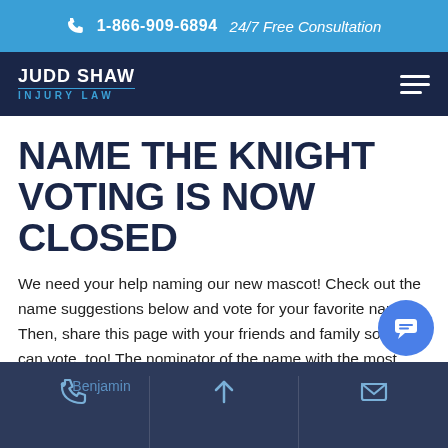1-866-909-6894  24/7 Free Consultation
[Figure (logo): Judd Shaw Injury Law logo with hamburger menu icon on dark navy background]
NAME THE KNIGHT VOTING IS NOW CLOSED
We need your help naming our new mascot! Check out the name suggestions below and vote for your favorite name. Then, share this page with your friends and family so they can vote, too! The nominator of the name with the most votes wins a 50" flat screen TV!
Benjamin
Benjamin